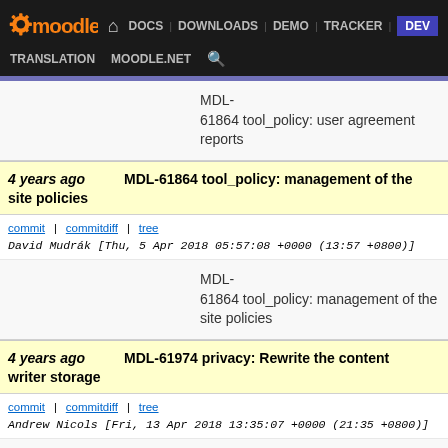[Figure (screenshot): Moodle navigation bar with logo and links: DOCS, DOWNLOADS, DEMO, TRACKER, DEV, TRANSLATION, MOODLE.NET, search icon]
MDL-61864 tool_policy: user agreement reports
4 years ago MDL-61864 tool_policy: management of the site policies
commit | commitdiff | tree   David Mudrák [Thu, 5 Apr 2018 05:57:08 +0000 (13:57 +0800)]
MDL-61864 tool_policy: management of the site policies
4 years ago MDL-61974 privacy: Rewrite the content writer storage
commit | commitdiff | tree   Andrew Nicols [Fri, 13 Apr 2018 13:35:07 +0000 (21:35 +0800)]
MDL-61974 privacy: Rewrite the content writer storage
4 years ago Merge branch 'MDL-61952-master' of git://github.com/sarjona/moodle